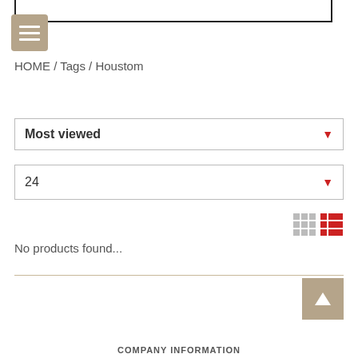[Figure (screenshot): Hamburger menu icon button with tan/beige background]
HOME / Tags / Houstom
Most viewed
24
[Figure (other): Grid and list view toggle icons]
No products found...
COMPANY INFORMATION